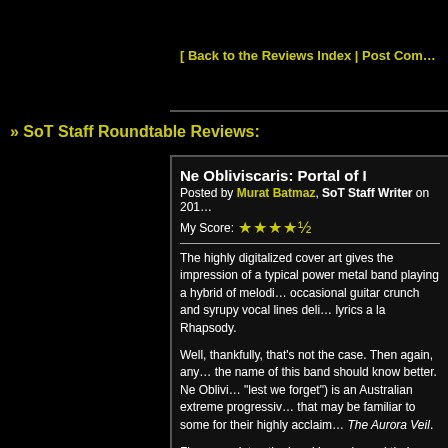[ Back to the Reviews Index | Post Com...
» SoT Staff Roundtable Reviews:
Ne Obliviscaris: Portal of I
Posted by Murat Batmaz, SoT Staff Writer on 201...
My Score: ★★★★½
The highly digitalized cover art gives the impression of a typical power metal band playing a hybrid of melodi... occasional guitar crunch and syrupy vocal lines deli... lyrics a la Rhapsody.
Well, thankfully, that's not the case. Then again, any... the name of this band should know better. Ne Oblivi... "lest we forget") is an Australian extreme progressiv... that may be familiar to some for their highly acclaim... The Aurora Veil.
Five years later, the band has released their debut a... I. It contains all three tracks from their demo, but the... reworked and modified with some parts completely... of course, the production is a lot tighter. If you, like n... listened to the demo a lot over the years, you'll notic... beautifully pronounced bass solo at the end of "Tap... Starless Abstract" is now hidden under a chant-like... that may or may not be to your liking depending on...